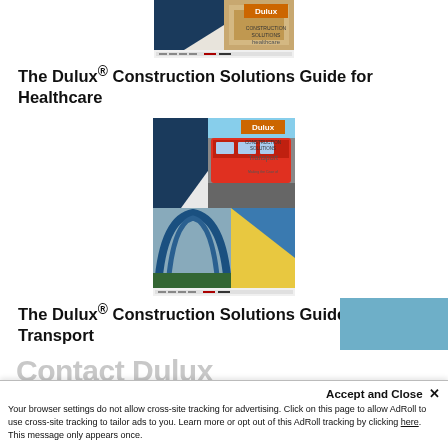[Figure (illustration): Dulux Construction Solutions Guide for Healthcare book cover thumbnail]
The Dulux® Construction Solutions Guide for Healthcare
[Figure (illustration): Dulux Construction Solutions Guide for Transport book cover thumbnail showing tram and architectural arch bridge]
The Dulux® Construction Solutions Guide for Transport
Contact Dulux
Your browser settings do not allow cross-site tracking for advertising. Click on this page to allow AdRoll to use cross-site tracking to tailor ads to you. Learn more or opt out of this AdRoll tracking by clicking here. This message only appears once.